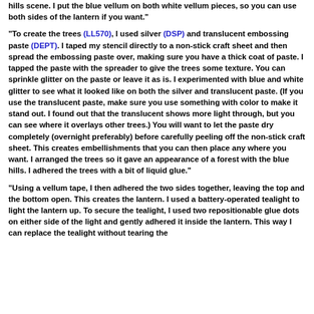hills scene. I put the blue vellum on both white vellum pieces, so you can use both sides of the lantern if you want."
"To create the trees (LL570), I used silver (DSP) and translucent embossing paste (DEPT). I taped my stencil directly to a non-stick craft sheet and then spread the embossing paste over, making sure you have a thick coat of paste. I tapped the paste with the spreader to give the trees some texture. You can sprinkle glitter on the paste or leave it as is. I experimented with blue and white glitter to see what it looked like on both the silver and translucent paste. (If you use the translucent paste, make sure you use something with color to make it stand out. I found out that the translucent shows more light through, but you can see where it overlays other trees.) You will want to let the paste dry completely (overnight preferably) before carefully peeling off the non-stick craft sheet. This creates embellishments that you can then place any where you want. I arranged the trees so it gave an appearance of a forest with the blue hills. I adhered the trees with a bit of liquid glue."
"Using a vellum tape, I then adhered the two sides together, leaving the top and the bottom open. This creates the lantern. I used a battery-operated tealight to light the lantern up. To secure the tealight, I used two repositionable glue dots on either side of the light and gently adhered it inside the lantern. This way I can replace the tealight without tearing the